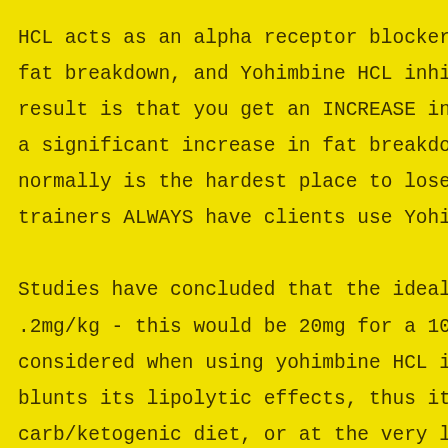HCL acts as an alpha receptor blocker. Si fat breakdown, and Yohimbine HCL inhibits result is that you get an INCREASE in fat a significant increase in fat breakdown d normally is the hardest place to lose it trainers ALWAYS have clients use Yohimbur Studies have concluded that the ideal dos .2mg/kg - this would be 20mg for a 100kg considered when using yohimbine HCL is th blunts its lipolytic effects, thus it sho carb/ketogenic diet, or at the very least an empty stomach, followed by moderate ae